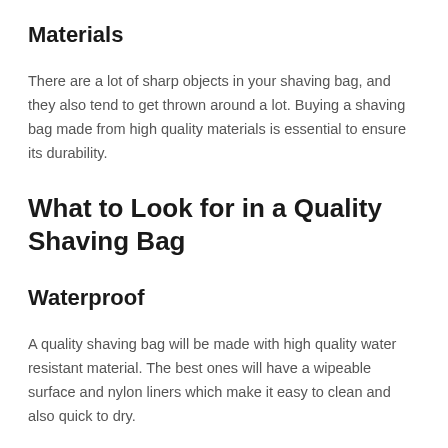Materials
There are a lot of sharp objects in your shaving bag, and they also tend to get thrown around a lot. Buying a shaving bag made from high quality materials is essential to ensure its durability.
What to Look for in a Quality Shaving Bag
Waterproof
A quality shaving bag will be made with high quality water resistant material. The best ones will have a wipeable surface and nylon liners which make it easy to clean and also quick to dry.
Handles or straps